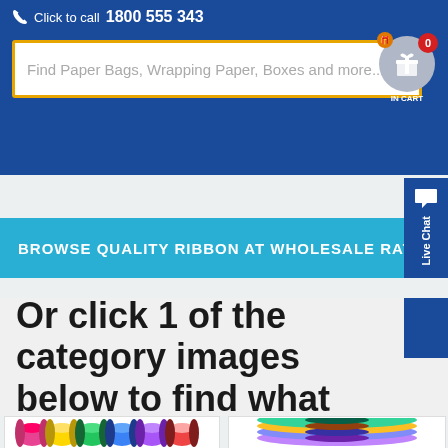Click to call 1800 555 343
Find Paper Bags, Wrapping Paper, Boxes and more...
BROWSE QUALITY RIBBON AT WHOLESALE RATES ONLINE
Or click 1 of the category images below to find what you're looking for...
[Figure (photo): Colorful ribbon spools in various colors arranged together]
[Figure (photo): Flat ribbon rolls stacked in a pile]